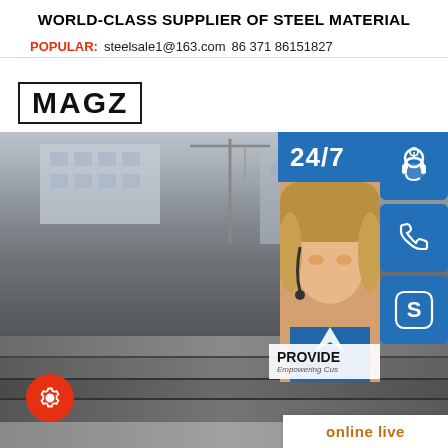WORLD-CLASS SUPPLIER OF STEEL MATERIAL
POPULAR: steelsale1@163.com 86 371 86151827
[Figure (logo): MAGZ logo in bold black text with black border box]
[Figure (photo): Steel sheet plates stacked in an industrial yard with building structures in the background, overlaid with a customer support sidebar showing 24/7 support icons (headset, phone, Skype), a support agent photo, PROVIDE Empowering Customers text, and an 'online live' button]
[Figure (illustration): Red circular gear/settings icon button at bottom left]